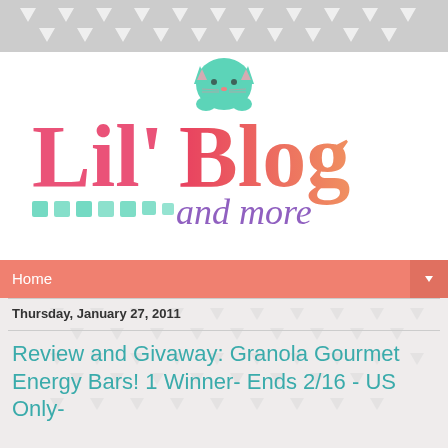[Figure (logo): Lil' Blog and more logo with teal cat illustration, pink and coral gradient text 'Lil' Blog', purple script 'and more', and teal square decorative elements]
Home
Thursday, January 27, 2011
Review and Givaway: Granola Gourmet Energy Bars! 1 Winner- Ends 2/16 - US Only-